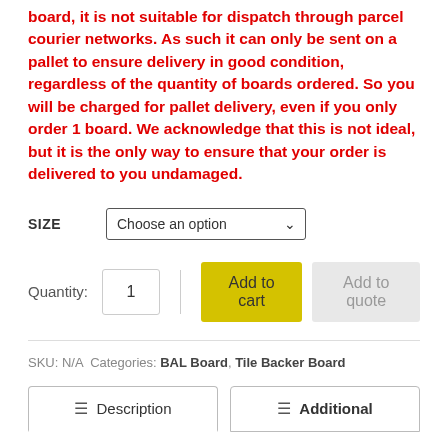board, it is not suitable for dispatch through parcel courier networks. As such it can only be sent on a pallet to ensure delivery in good condition, regardless of the quantity of boards ordered. So you will be charged for pallet delivery, even if you only order 1 board. We acknowledge that this is not ideal, but it is the only way to ensure that your order is delivered to you undamaged.
SIZE  Choose an option
Quantity: 1  Add to cart  Add to quote
SKU: N/A  Categories: BAL Board, Tile Backer Board
Description  Additional